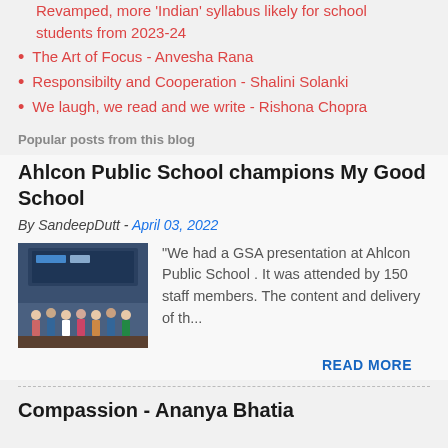Revamped, more 'Indian' syllabus likely for school students from 2023-24
The Art of Focus - Anvesha Rana
Responsibilty and Cooperation - Shalini Solanki
We laugh, we read and we write - Rishona Chopra
Popular posts from this blog
Ahlcon Public School champions My Good School
By SandeepDutt - April 03, 2022
[Figure (photo): Group photo of staff at Ahlcon Public School event on stage]
"We had a GSA presentation at Ahlcon Public School . It was attended by 150 staff members. The content and delivery of th...
READ MORE
Compassion - Ananya Bhatia